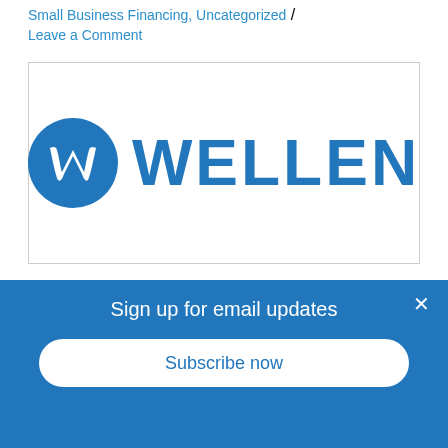Small Business Financing, Uncategorized / Leave a Comment
[Figure (logo): Wellen Capital logo: blue circle with stylized white W, followed by the word WELLEN in large bold blue letters]
GIBRALTAR CAPITAL ADVANCE REBRANDS AS WELLEN CAPITAL
Sign up for email updates
Subscribe now